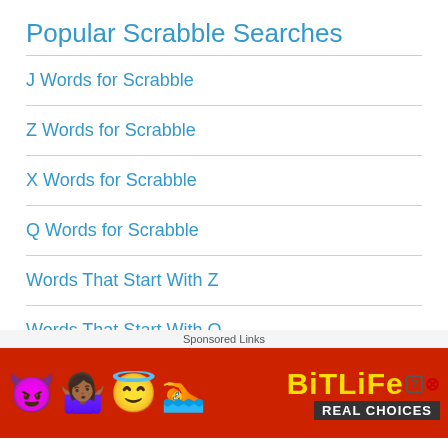Popular Scrabble Searches
J Words for Scrabble
Z Words for Scrabble
X Words for Scrabble
Q Words for Scrabble
Words That Start With Z
Words That Start With Q
Words That Start With F
Words That Start With X
2 Le...
[Figure (screenshot): Advertisement banner for BitLife app with devil, person, and angel emojis on red background. Shows 'Sponsored Links' bar and close button (×). BitLife logo with 'REAL CHOICES' text.]